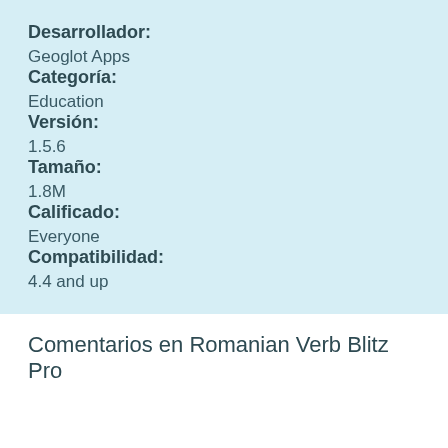Desarrollador:
Geoglot Apps
Categoría:
Education
Versión:
1.5.6
Tamaño:
1.8M
Calificado:
Everyone
Compatibilidad:
4.4 and up
Comentarios en Romanian Verb Blitz Pro